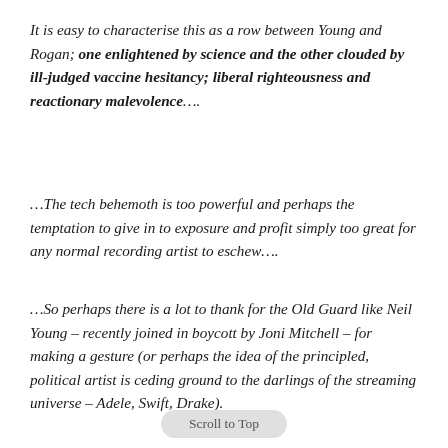It is easy to characterise this as a row between Young and Rogan; one enlightened by science and the other clouded by ill-judged vaccine hesitancy; liberal righteousness and reactionary malevolence….
…The tech behemoth is too powerful and perhaps the temptation to give in to exposure and profit simply too great for any normal recording artist to eschew….
…So perhaps there is a lot to thank for the Old Guard like Neil Young – recently joined in boycott by Joni Mitchell – for making a gesture (or perhaps the idea of the principled, political artist is ceding ground to the darlings of the streaming universe – Adele, Swift, Drake).
Scroll to Top